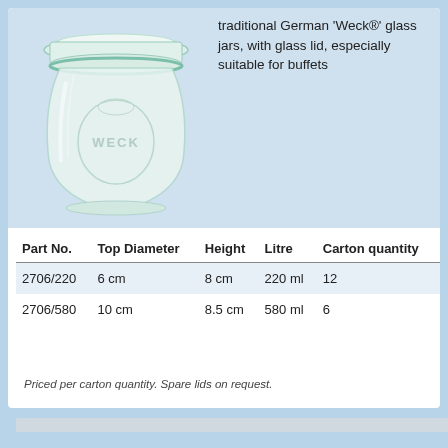[Figure (photo): A clear glass Weck jar with a glass lid, showing the embossed WECK logo on the front. The jar is tulip-shaped and transparent.]
traditional German 'Weck®' glass jars, with glass lid, especially suitable for buffets
| Part No. | Top Diameter | Height | Litre | Carton quantity |
| --- | --- | --- | --- | --- |
| 2706/220 | 6 cm | 8 cm | 220 ml | 12 |
| 2706/580 | 10 cm | 8.5 cm | 580 ml | 6 |
Priced per carton quantity. Spare lids on request.